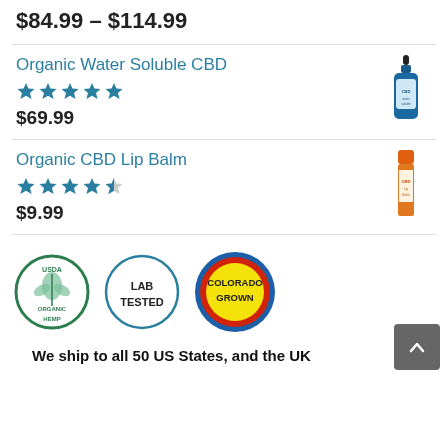$84.99 – $114.99
Organic Water Soluble CBD
★★★★★
$69.99
[Figure (photo): Blue dropper bottle product image for Organic Water Soluble CBD]
Organic CBD Lip Balm
★★★★½
$9.99
[Figure (photo): Orange lip balm tube product image for Organic CBD Lip Balm]
[Figure (logo): Three certification badges: USDA Organic Hemp (green circle), Lab Tested (teal circle), Colorado Grown (red/yellow/blue circle)]
We ship to all 50 US States, and the UK